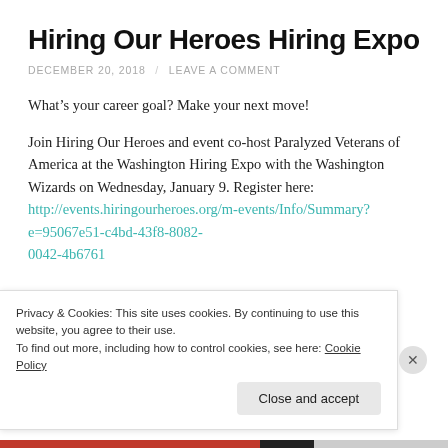Hiring Our Heroes Hiring Expo
DECEMBER 20, 2018 / LEAVE A COMMENT
What’s your career goal? Make your next move!
Join Hiring Our Heroes and event co-host Paralyzed Veterans of America at the Washington Hiring Expo with the Washington Wizards on Wednesday, January 9. Register here: http://events.hiringourheroes.org/m-events/Info/Summary?e=95067e51-c4bd-43f8-8082-0042-4b6761
Privacy & Cookies: This site uses cookies. By continuing to use this website, you agree to their use.
To find out more, including how to control cookies, see here: Cookie Policy
Close and accept